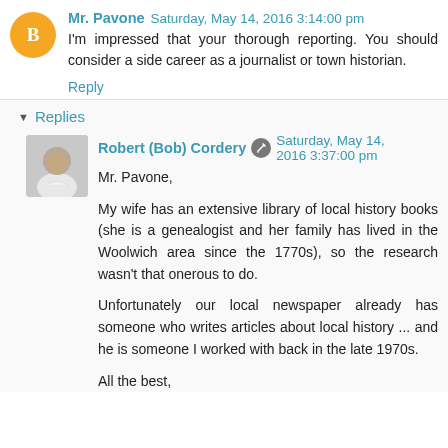Mr. Pavone Saturday, May 14, 2016 3:14:00 pm
I'm impressed that your thorough reporting. You should consider a side career as a journalist or town historian.
Reply
Replies
[Figure (photo): Profile photo of Robert (Bob) Cordery — a man in a white shirt]
Robert (Bob) Cordery Saturday, May 14, 2016 3:37:00 pm
Mr. Pavone,

My wife has an extensive library of local history books (she is a genealogist and her family has lived in the Woolwich area since the 1770s), so the research wasn't that onerous to do.

Unfortunately our local newspaper already has someone who writes articles about local history ... and he is someone I worked with back in the late 1970s.

All the best,